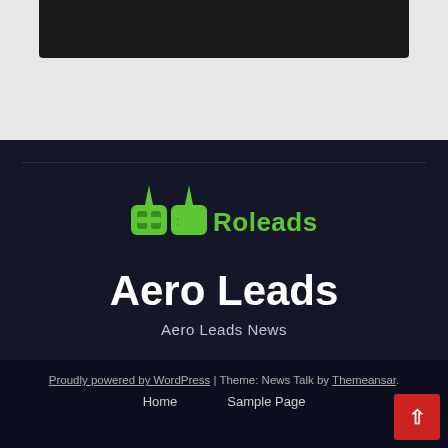[Figure (screenshot): Top section with dark image bar on light gray background]
[Figure (logo): AeRoleads green logo with stylized 'ae' icon and 'Roleads' text]
Aero Leads
Aero Leads News
Proudly powered by WordPress | Theme: News Talk by Themeansar.
Home   Sample Page